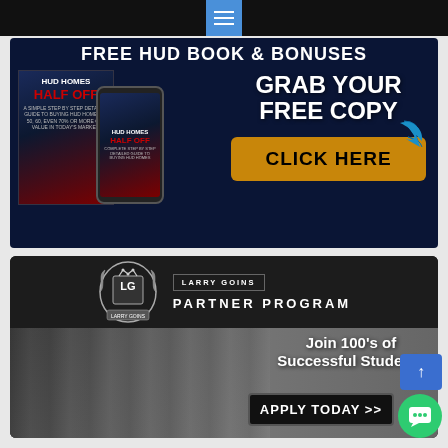[Figure (screenshot): Top black navigation bar with blue menu/hamburger icon button in center]
[Figure (infographic): HUD Homes Half Off advertisement banner with dark blue background. Shows book cover and phone with 'HUD HOMES HALF OFF' text. Right side says 'GRAB YOUR FREE COPY' with a gold 'CLICK HERE' button. Header reads 'FREE HUD BOOK & BONUSES']
[Figure (infographic): Larry Goins Partner Program advertisement. Top section shows LG logo crest with 'LARRY GOINS PARTNER PROGRAM' text on dark background. Bottom section shows people celebrating with text 'Join 100's of Successful Students' and a dark 'APPLY TODAY >>' button]
[Figure (screenshot): Blue scroll-to-top button and green chat bubble widget in bottom right corner]